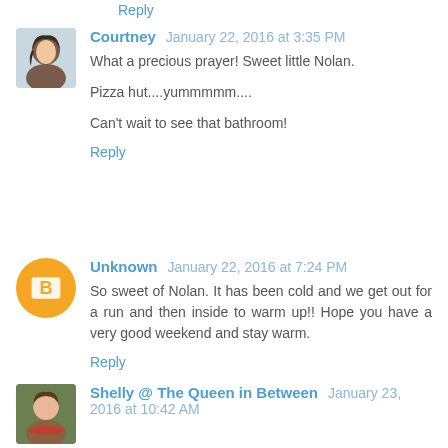Reply
Courtney January 22, 2016 at 3:35 PM
What a precious prayer! Sweet little Nolan.

Pizza hut....yummmmm....

Can't wait to see that bathroom!
Reply
Unknown January 22, 2016 at 7:24 PM
So sweet of Nolan. It has been cold and we get out for a run and then inside to warm up!! Hope you have a very good weekend and stay warm.
Reply
Shelly @ The Queen in Between January 23, 2016 at 10:42 AM